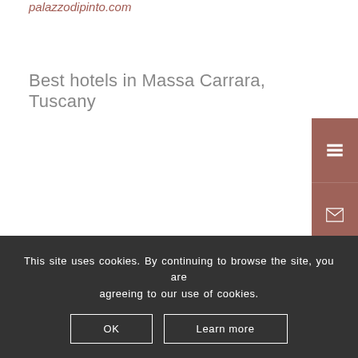palazzodipinto.com
Best hotels in Massa Carrara, Tuscany
[Figure (other): Right-side navigation icon bar with mauve/rose background containing icons for: list/menu, email/envelope, Facebook, and Instagram]
This site uses cookies. By continuing to browse the site, you are agreeing to our use of cookies.
OK
Learn more